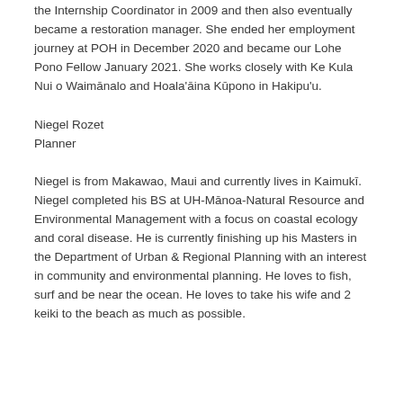the Internship Coordinator in 2009 and then also eventually became a restoration manager. She ended her employment journey at POH in December 2020 and became our Lohe Pono Fellow January 2021. She works closely with Ke Kula Nui o Waimānalo and Hoala'āina Kūpono in Hakipu'u.
Niegel Rozet
Planner
Niegel is from Makawao, Maui and currently lives in Kaimukī. Niegel completed his BS at UH-Mānoa-Natural Resource and Environmental Management with a focus on coastal ecology and coral disease. He is currently finishing up his Masters in the Department of Urban & Regional Planning with an interest in community and environmental planning. He loves to fish, surf and be near the ocean. He loves to take his wife and 2 keiki to the beach as much as possible.